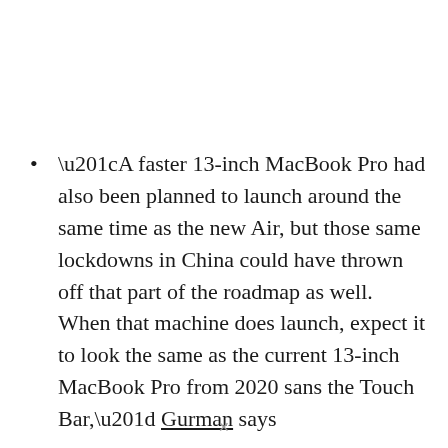“A faster 13-inch MacBook Pro had also been planned to launch around the same time as the new Air, but those same lockdowns in China could have thrown off that part of the roadmap as well. When that machine does launch, expect it to look the same as the current 13-inch MacBook Pro from 2020 sans the Touch Bar,” Gurman says
While we don’t see a concrete timeline